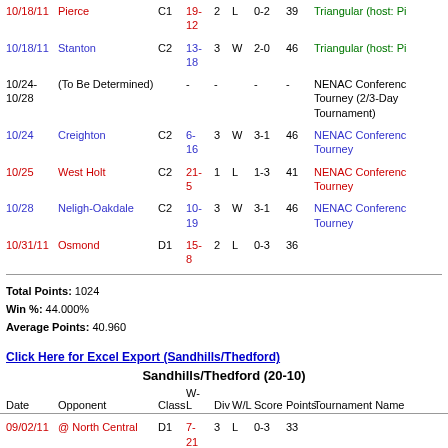| Date | Opponent | Class | W-L | Div | W/L | Score | Points | Tournament Name |
| --- | --- | --- | --- | --- | --- | --- | --- | --- |
| 10/18/11 | Pierce | C1 | 19-12 | 2 | L | 0-2 | 39 | Triangular (host: Pi… |
| 10/18/11 | Stanton | C2 | 13-18 | 3 | W | 2-0 | 46 | Triangular (host: Pi… |
| 10/24-10/28 | (To Be Determined) |  | - | - |  | - | - | NENAC Conference Tourney (2/3-Day Tournament) |
| 10/24 | Creighton | C2 | 6-16 | 3 | W | 3-1 | 46 | NENAC Conference Tourney |
| 10/25 | West Holt | C2 | 21-5 | 1 | L | 1-3 | 41 | NENAC Conference Tourney |
| 10/28 | Neligh-Oakdale | C2 | 10-19 | 3 | W | 3-1 | 46 | NENAC Conference Tourney |
| 10/31/11 | Osmond | D1 | 15-8 | 2 | L | 0-3 | 36 |  |
Total Points: 1024
Win %: 44.000%
Average Points: 40.960
Click Here for Excel Export (Sandhills/Thedford)
Sandhills/Thedford (20-10)
| Date | Opponent | Class | W-L | Div | W/L | Score | Points | Tournament Name |
| --- | --- | --- | --- | --- | --- | --- | --- | --- |
| 09/02/11 | @ North Central | D1 | 7-21 | 3 | L | 0-3 | 33 |  |